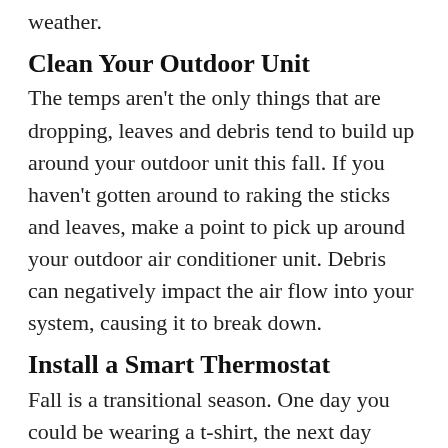weather.
Clean Your Outdoor Unit
The temps aren't the only things that are dropping, leaves and debris tend to build up around your outdoor unit this fall. If you haven't gotten around to raking the sticks and leaves, make a point to pick up around your outdoor air conditioner unit. Debris can negatively impact the air flow into your system, causing it to break down.
Install a Smart Thermostat
Fall is a transitional season. One day you could be wearing a t-shirt, the next day you'll need a sweater. Smart thermostats are linked to Wi-Fi and actually track the weather in Marshalltown which makes seasonal transitions simpler. They also learn your